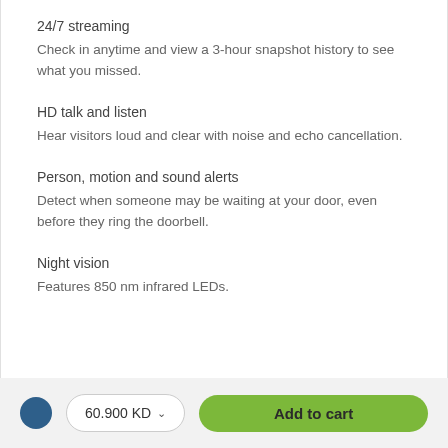24/7 streaming
Check in anytime and view a 3-hour snapshot history to see what you missed.
HD talk and listen
Hear visitors loud and clear with noise and echo cancellation.
Person, motion and sound alerts
Detect when someone may be waiting at your door, even before they ring the doorbell.
Night vision
Features 850 nm infrared LEDs.
60.900 KD
Add to cart